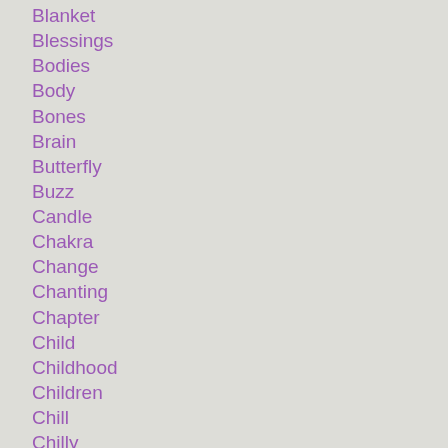Blanket
Blessings
Bodies
Body
Bones
Brain
Butterfly
Buzz
Candle
Chakra
Change
Chanting
Chapter
Child
Childhood
Children
Chill
Chilly
Choice
Chore
Christmas